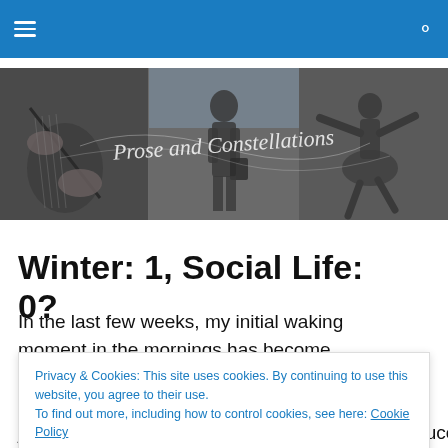Navigation bar with hamburger menu and search icon
[Figure (illustration): Black and white banner image with three panels: guitar player on left, person with shadow in center, dancer on right. Cursive script overlay reads 'Prose and Constellations']
Winter: 1, Social Life: 0?
In the last few weeks, my initial waking moment in the mornings has become progressively colder; each day
Privacy & Cookies: This site uses cookies. By continuing to use this website, you agree to their use.
To find out more, including how to control cookies, see here: Cookie Policy
Close and accept
jaunt, accompanied by summer tunes, iced cappuccinos